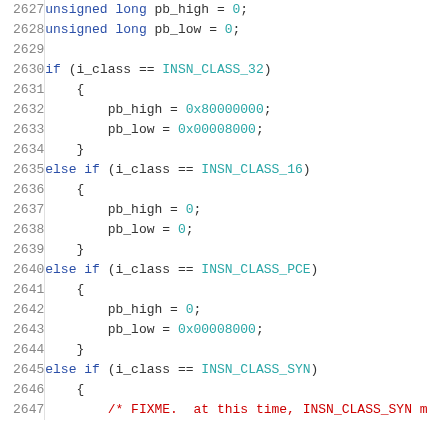Source code listing, lines 2627-2647, showing C code with variable declarations and if/else if conditional blocks for instruction class handling (pb_high, pb_low assignments based on INSN_CLASS_32, INSN_CLASS_16, INSN_CLASS_PCE, INSN_CLASS_SYN).